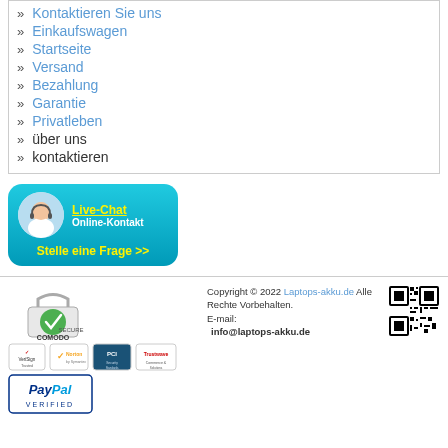» Kontaktieren Sie uns
» Einkaufswagen
» Startseite
» Versand
» Bezahlung
» Garantie
» Privatleben
» über uns
» kontaktieren
[Figure (infographic): Live-Chat button with headset avatar, text: Live-Chat Online-Kontakt Stelle eine Frage >>]
[Figure (logo): Comodo Secure badge]
[Figure (logo): Verisign Trusted, Norton by Symantec, PCI Security Standards Council, Trustwave logos]
[Figure (logo): PayPal Verified badge]
Copyright © 2022 Laptops-akku.de Alle Rechte Vorbehalten. E-mail: info@laptops-akku.de
[Figure (other): QR code for Laptops-akku.de]